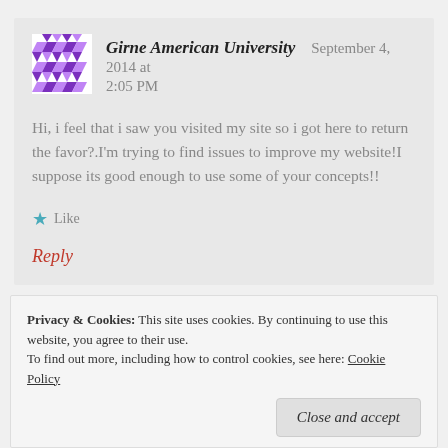[Figure (logo): Purple geometric/diamond pattern avatar icon]
Girne American University
September 4, 2014 at 2:05 PM
Hi, i feel that i saw you visited my site so i got here to return the favor?.I'm trying to find issues to improve my website!I suppose its good enough to use some of your concepts!!
★ Like
Reply
Privacy & Cookies: This site uses cookies. By continuing to use this website, you agree to their use.
To find out more, including how to control cookies, see here: Cookie Policy
Close and accept
blogosphere.